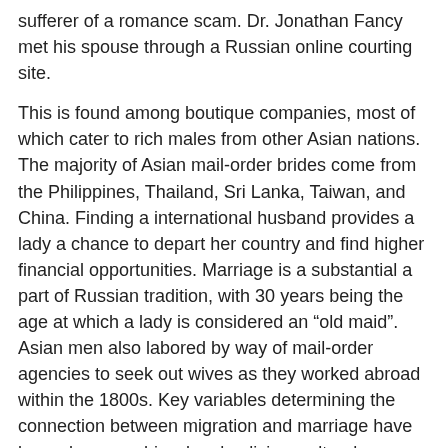sufferer of a romance scam. Dr. Jonathan Fancy met his spouse through a Russian online courting site.
This is found among boutique companies, most of which cater to rich males from other Asian nations. The majority of Asian mail-order brides come from the Philippines, Thailand, Sri Lanka, Taiwan, and China. Finding a international husband provides a lady a chance to depart her country and find higher financial opportunities. Marriage is a substantial a part of Russian tradition, with 30 years being the age at which a lady is considered an “old maid”. Asian men also labored by way of mail-order agencies to seek out wives as they worked abroad within the 1800s. Key variables determining the connection between migration and marriage have been demographics, legal policies, cultural perceptions and know-how.
That reveals to other people that you just managed to generate somebody need you adequate to make you his.
While the detectives follow the money to a deadly blackmail rip-off run by the Russian Mafia, Captain Cragen goes